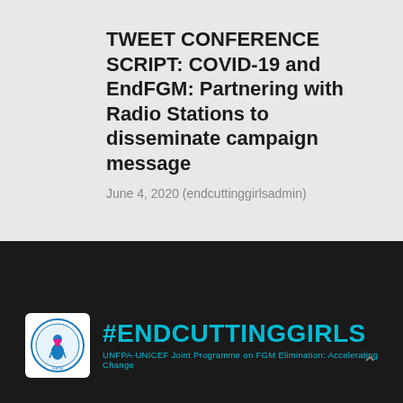TWEET CONFERENCE SCRIPT: COVID-19 and EndFGM: Partnering with Radio Stations to disseminate campaign message
June 4, 2020 (endcuttinggirlsadmin)
[Figure (logo): EndCuttingGirls logo — circular emblem with a stylized female figure, pink heart, in blue/white, with text around the border]
#ENDCUTTINGGIRLS UNFPA-UNICEF Joint Programme on FGM Elimination: Accelerating Change